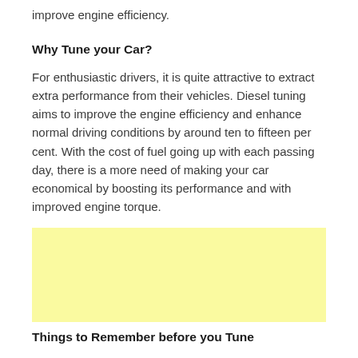improve engine efficiency.
Why Tune your Car?
For enthusiastic drivers, it is quite attractive to extract extra performance from their vehicles. Diesel tuning aims to improve the engine efficiency and enhance normal driving conditions by around ten to fifteen per cent. With the cost of fuel going up with each passing day, there is a more need of making your car economical by boosting its performance and with improved engine torque.
[Figure (other): Yellow rectangular advertisement placeholder box]
Things to Remember before you Tune
There is a number of cheap tuning software available online. But not all of them are good and your car might